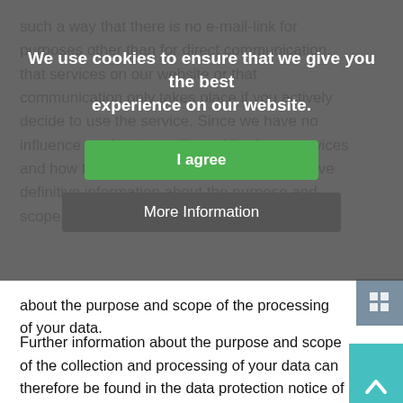[Figure (screenshot): Cookie consent overlay with message 'We use cookies to ensure that we give you the best experience on our website.' with 'I agree' green button and 'More Information' grey button over dimmed background text]
about the purpose and scope of the processing of your data.
Further information about the purpose and scope of the collection and processing of your data can therefore be found in the data protection notice of the respective data protection-compliant provider of the services or content integrated by us. These include:
• Youtube (videos)
• Google Maps
• HVV Portal (local public transport)
6. Transfer of data for processing on our